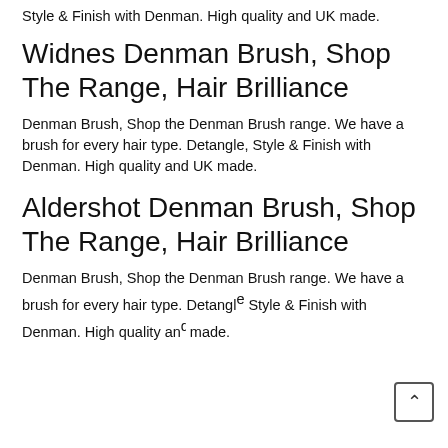Style & Finish with Denman. High quality and UK made.
Widnes Denman Brush, Shop The Range, Hair Brilliance
Denman Brush, Shop the Denman Brush range. We have a brush for every hair type. Detangle, Style & Finish with Denman. High quality and UK made.
Aldershot Denman Brush, Shop The Range, Hair Brilliance
Denman Brush, Shop the Denman Brush range. We have a brush for every hair type. Detangle, Style & Finish with Denman. High quality and UK made.